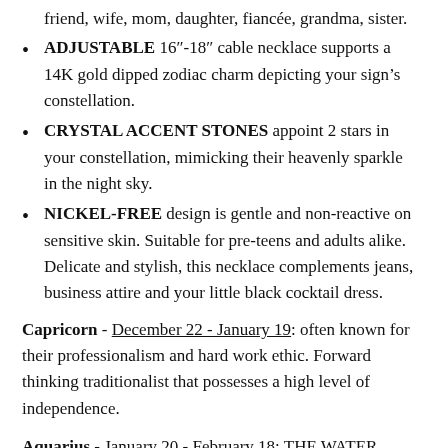friend, wife, mom, daughter, fiancée, grandma, sister.
ADJUSTABLE 16"-18" cable necklace supports a 14K gold dipped zodiac charm depicting your sign's constellation.
CRYSTAL ACCENT STONES appoint 2 stars in your constellation, mimicking their heavenly sparkle in the night sky.
NICKEL-FREE design is gentle and non-reactive on sensitive skin. Suitable for pre-teens and adults alike. Delicate and stylish, this necklace complements jeans, business attire and your little black cocktail dress.
Capricorn - December 22 - January 19: often known for their professionalism and hard work ethic. Forward thinking traditionalist that possesses a high level of independence.
Aquarius - January 20 - February 18: THE WATER BEARER represents humanitarians of the zodiac, fiercely loyal and